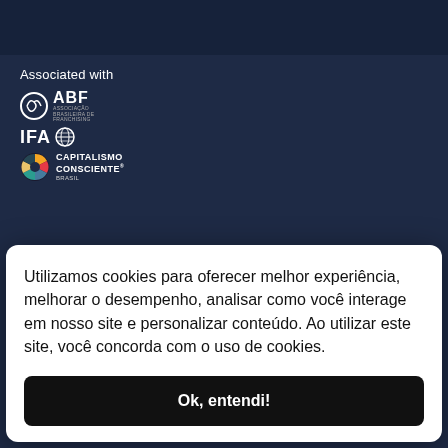Associated with
[Figure (logo): ABF (Associação Brasileira de Franchising) logo with circular arrow icon and white text]
[Figure (logo): IFA logo with globe icon]
[Figure (logo): Capitalismo Consciente Brasil logo with colorful circular icon]
Utilizamos cookies para oferecer melhor experiência, melhorar o desempenho, analisar como você interage em nosso site e personalizar conteúdo. Ao utilizar este site, você concorda com o uso de cookies.
Ok, entendi!